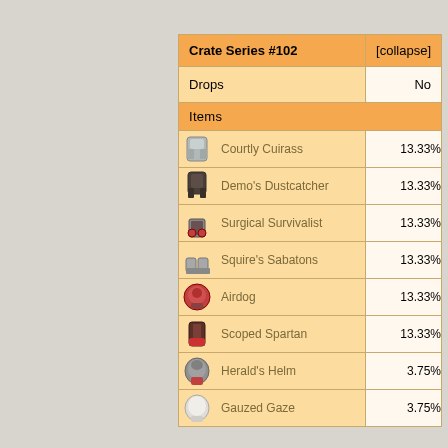| Crate Series #102 | [collapse] |
| --- | --- |
| Drops | No |
| Items |  |
| Courtly Cuirass | 13.33% |
| Demo's Dustcatcher | 13.33% |
| Surgical Survivalist | 13.33% |
| Squire's Sabatons | 13.33% |
| Airdog | 13.33% |
| Scoped Spartan | 13.33% |
| Herald's Helm | 3.75% |
| Gauzed Gaze | 3.75% |